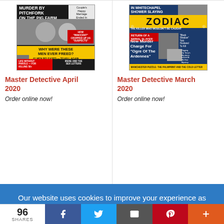[Figure (photo): Magazine cover: Master Detective April 2020 — dark background with headline 'Murder By Pitchfork On The Pig Farm', couple photo, yellow banner 'Why Were These Men Ever Freed?']
Master Detective April 2020
Order online now!
[Figure (photo): Magazine cover: Master Detective March 2020 — dark blue background with ZODIAC headline in yellow, 'In Whitechapel Shower Slaying', 'New Murder Charge For Ogre Of The Ardennes']
Master Detective March 2020
Order online now!
Our website uses cookies to improve your experience as
96 SHARES